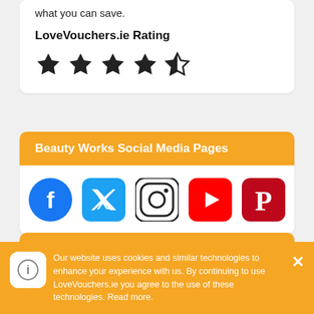what you can save.
LoveVouchers.ie Rating
[Figure (other): 4 full stars and 1 half star rating]
Beauty Works Social Media Pages
[Figure (other): Social media icons: Facebook, Twitter, Instagram, YouTube, Pinterest]
Last Update
Our website uses cookies and similar technologies to enhance your experience with us. By continuing to use LoveVouchers.ie you agree to the use of these technologies. Read more.